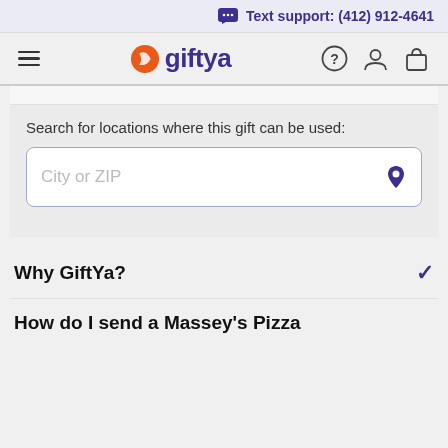Text support: (412) 912-4641
[Figure (screenshot): GiftYa website navigation bar with hamburger menu, GiftYa logo, help icon, account icon, and shopping bag icon]
Search for locations where this gift can be used:
City or ZIP
Why GiftYa?
How do I send a Massey's Pizza